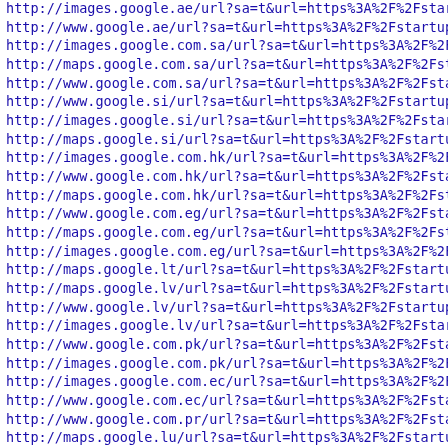http://images.google.ae/url?sa=t&url=https%3A%2F%2Fstartup
http://www.google.ae/url?sa=t&url=https%3A%2F%2Fstartupindi
http://images.google.com.sa/url?sa=t&url=https%3A%2F%2Fstar
http://maps.google.com.sa/url?sa=t&url=https%3A%2F%2Fstartu
http://www.google.com.sa/url?sa=t&url=https%3A%2F%2Fstartup
http://www.google.si/url?sa=t&url=https%3A%2F%2Fstartupindi
http://images.google.si/url?sa=t&url=https%3A%2F%2Fstartupi
http://maps.google.si/url?sa=t&url=https%3A%2F%2Fstartupind
http://images.google.com.hk/url?sa=t&url=https%3A%2F%2Fstar
http://www.google.com.hk/url?sa=t&url=https%3A%2F%2Fstartup
http://maps.google.com.hk/url?sa=t&url=https%3A%2F%2Fstartu
http://www.google.com.eg/url?sa=t&url=https%3A%2F%2Fstartup
http://maps.google.com.eg/url?sa=t&url=https%3A%2F%2Fstartu
http://images.google.com.eg/url?sa=t&url=https%3A%2F%2Fstar
http://maps.google.lt/url?sa=t&url=https%3A%2F%2Fstartupind
http://maps.google.lv/url?sa=t&url=https%3A%2F%2Fstartupind
http://www.google.lv/url?sa=t&url=https%3A%2F%2Fstartupindi
http://images.google.lv/url?sa=t&url=https%3A%2F%2Fstartupi
http://www.google.com.pk/url?sa=t&url=https%3A%2F%2Fstartup
http://images.google.com.pk/url?sa=t&url=https%3A%2F%2Fstar
http://images.google.com.ec/url?sa=t&url=https%3A%2F%2Fstar
http://www.google.com.ec/url?sa=t&url=https%3A%2F%2Fstartup
http://www.google.com.pr/url?sa=t&url=https%3A%2F%2Fstartup
http://maps.google.lu/url?sa=t&url=https%3A%2F%2Fstartupind
http://images.google.lu/url?sa=t&url=https%3A%2F%2Fstartupi
http://www.google.lu/url?sa=t&url=https%3A%2F%2Fstartupindi
http://images.google.com.do/url?sa=t&url=https%3A%2F%2Fstar
http://maps.google.com.do/url?sa=t&url=https%3A%2F%2Fstartu
http://www.google.com.do/url?sa=t&url=https%3A%2F%2Fstartup
http://images.google.co.cr/url?sa=t&url=https%3A%2F%2Fstar